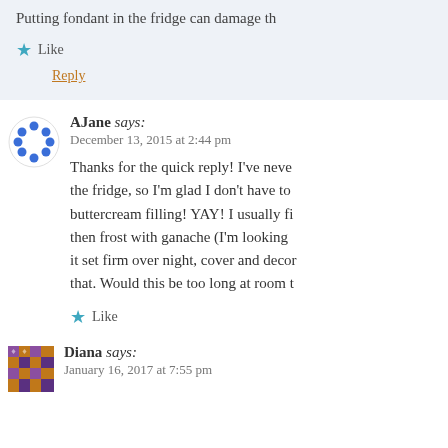Putting fondant in the fridge can damage th
Like
Reply
AJane says: December 13, 2015 at 2:44 pm
Thanks for the quick reply! I've never the fridge, so I'm glad I don't have to buttercream filling! YAY! I usually fi then frost with ganache (I'm looking it set firm over night, cover and decor that. Would this be too long at room t
Like
Diana says: January 16, 2017 at 7:55 pm